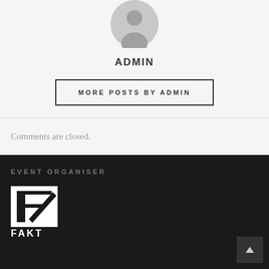[Figure (illustration): Gray default user avatar icon (silhouette of a person in a circle)]
ADMIN
MORE POSTS BY ADMIN
Comments are closed.
EVENT ORGANISER
[Figure (logo): FAKT logo - white logo on dark background showing stylized letter F with FAKT text below]